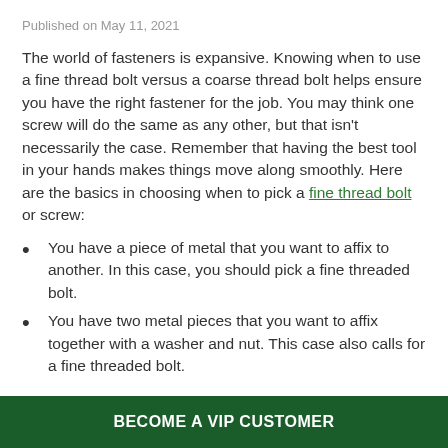Published on May 11, 2021
The world of fasteners is expansive. Knowing when to use a fine thread bolt versus a coarse thread bolt helps ensure you have the right fastener for the job. You may think one screw will do the same as any other, but that isn't necessarily the case. Remember that having the best tool in your hands makes things move along smoothly. Here are the basics in choosing when to pick a fine thread bolt or screw:
You have a piece of metal that you want to affix to another. In this case, you should pick a fine threaded bolt.
You have two metal pieces that you want to affix together with a washer and nut. This case also calls for a fine threaded bolt.
BECOME A VIP CUSTOMER